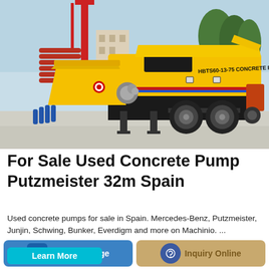[Figure (photo): Yellow HBTS60-13-75 concrete pump on a construction site, trailer-mounted with large hopper and discharge arm]
For Sale Used Concrete Pump Putzmeister 32m Spain
Used concrete pumps for sale in Spain. Mercedes-Benz, Putzmeister, Junjin, Schwing, Bunker, Everdigm and more on Machinio. ... MERCEDES 2631 - CONCRETE PUMP ...